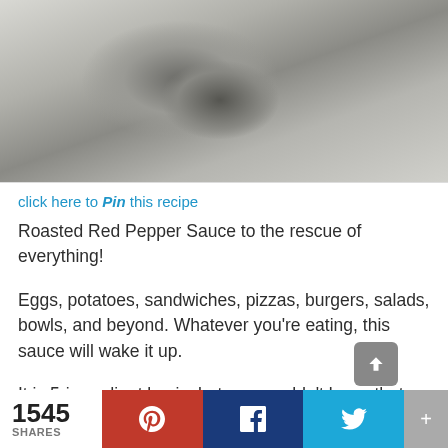[Figure (photo): Food photo – close-up of a dish, light gray/smoky background, appears partially visible at top of page]
click here to Pin this recipe
Roasted Red Pepper Sauce to the rescue of everything!
Eggs, potatoes, sandwiches, pizzas, burgers, salads, bowls, and beyond. Whatever you're eating, this sauce will wake it up.
It is 5-ingredient basic, but you wouldn't know that
1545 SHARES